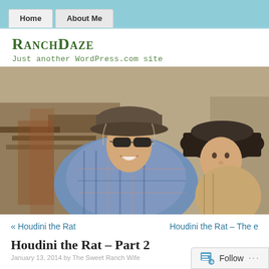Home | About Me
RanchDaze
Just another WordPress.com site
[Figure (photo): A smiling adult wearing a baseball cap and sunglasses holds a young child wearing a wide-brimmed cowboy hat, outdoors near a wooden fence.]
« Houdini the Rat   Houdini the Rat – The e
Houdini the Rat – Part 2
January 13, 2014 by The Sweet Ranch Wife